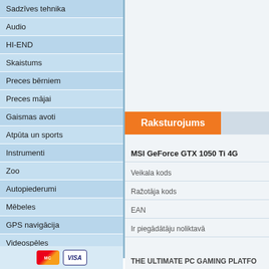Sadzīves tehnika
Audio
HI-END
Skaistums
Preces bērniem
Preces mājai
Gaismas avoti
Atpūta un sports
Instrumenti
Zoo
Autopiederumi
Mēbeles
GPS navigācija
Videospēles
Dāvanas
Izpārdošana.Atlaides.Ir uz vietas.
Refurbished products
Detaļas remontam (lietotas)
Raksturojums
MSI GeForce GTX 1050 Ti 4G
Veikala kods
Ražotāja kods
EAN
Ir piegādātāju noliktavā
THE ULTIMATE PC GAMING PLATFO